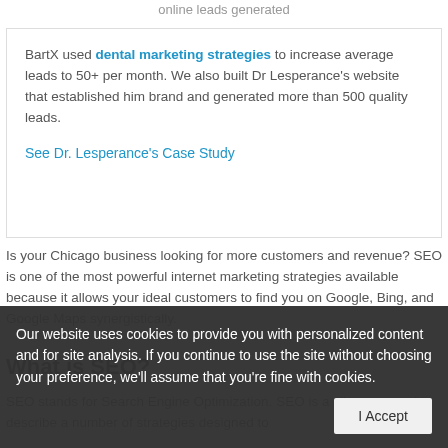BartX used dental marketing strategies to increase average leads to 50+ per month. We also built Dr Lesperance's website that established him brand and generated more than 500 quality leads.
See Dr. Lesperance's Case Study
Is your Chicago business looking for more customers and revenue? SEO is one of the most powerful internet marketing strategies available because it allows your ideal customers to find you on Google, Bing, and Google Maps synergistically.
What is SEO?
SEO stands for Search Engine Optimization. SEO is a silo term used to describe a number of strategies designed to
Our website uses cookies to provide you with personalized content and for site analysis. If you continue to use the site without choosing your preference, we'll assume that you're fine with cookies.
I Accept